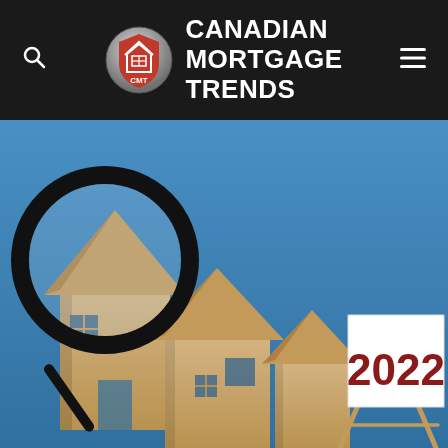[Figure (logo): Canadian Mortgage Trends website header with CMT logo (red house with grid symbol inside a shield/crest shape), site name in white bold uppercase text on dark/black background, search icon on left, hamburger menu icon on right]
[Figure (photo): Photograph of three wooden house models of varying sizes on a blue background, with a magnifying glass leaning against the tallest house on the left, and a white sign on an easel on the right displaying '2022' in large bold dark red text]